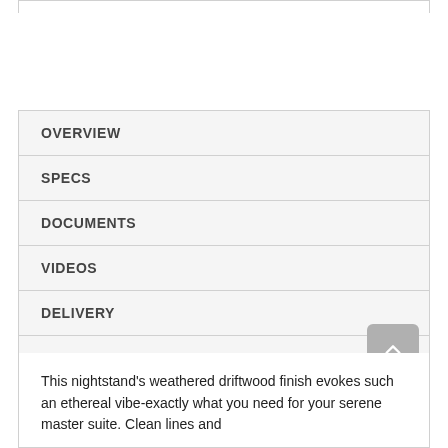OVERVIEW
SPECS
DOCUMENTS
VIDEOS
DELIVERY
WARRANTY
This nightstand's weathered driftwood finish evokes such an ethereal vibe-exactly what you need for your serene master suite. Clean lines and